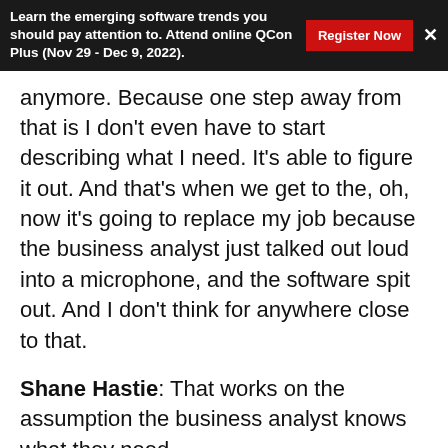Learn the emerging software trends you should pay attention to. Attend online QCon Plus (Nov 29 - Dec 9, 2022). Register Now ×
anymore. Because one step away from that is I don't even have to start describing what I need. It's able to figure it out. And that's when we get to the, oh, now it's going to replace my job because the business analyst just talked out loud into a microphone, and the software spit out. And I don't think for anywhere close to that.
Shane Hastie: That works on the assumption the business analyst knows what they need.
Charles Humble: I agree with all of that. I think it basically gets rid of the easy bits, if you will. The hard bit about software is figuring out what it is you're trying to build, and none of these tools really help with that. I think that they can probably with